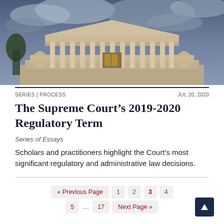[Figure (photo): Photograph of the United States Supreme Court building facade with columns and dramatic cloudy sky]
SERIES | PROCESS
JUL 20, 2020
The Supreme Court's 2019-2020 Regulatory Term
Series of Essays
Scholars and practitioners highlight the Court's most significant regulatory and administrative law decisions.
« Previous Page  1  2  3  4  5  ...  17  Next Page »